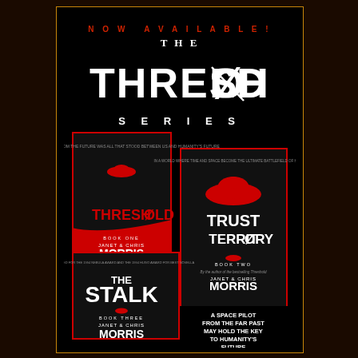[Figure (illustration): Advertisement for The Threshold Series by Janet & Chris Morris. Black background with gold border. Shows three book covers: Threshold (Book One), Trust Territory (Book Two), The Stalk (Book Three). Red and black design. Text reads NOW AVAILABLE! THE THRESHOLD SERIES. Tagline: A SPACE PILOT FROM THE FAR PAST MAY HOLD THE KEY TO HUMANITY'S FUTURE.]